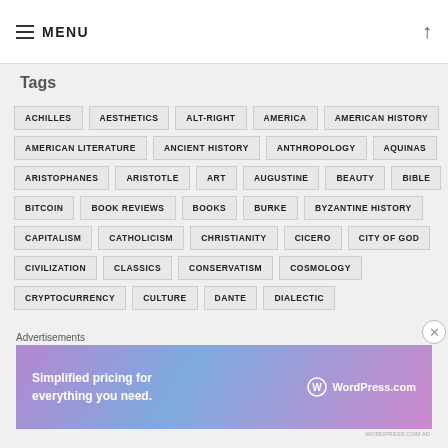MENU
Tags
ACHILLES
AESTHETICS
ALT-RIGHT
AMERICA
AMERICAN HISTORY
AMERICAN LITERATURE
ANCIENT HISTORY
ANTHROPOLOGY
AQUINAS
ARISTOPHANES
ARISTOTLE
ART
AUGUSTINE
BEAUTY
BIBLE
BITCOIN
BOOK REVIEWS
BOOKS
BURKE
BYZANTINE HISTORY
CAPITALISM
CATHOLICISM
CHRISTIANITY
CICERO
CITY OF GOD
CIVILIZATION
CLASSICS
CONSERVATISM
COSMOLOGY
CRYPTOCURRENCY
CULTURE
DANTE
DIALECTIC
Advertisements
[Figure (other): WordPress.com advertisement banner with gradient background showing 'Simplified pricing for everything you need.' and WordPress.com logo]